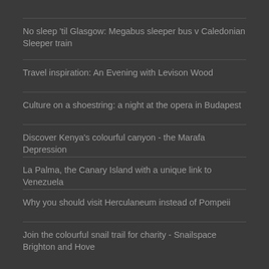No sleep 'til Glasgow: Megabus sleeper bus v Caledonian Sleeper train
Travel inspiration: An Evening with Levison Wood
Culture on a shoestring: a night at the opera in Budapest
Discover Kenya's colourful canyon - the Marafa Depression
La Palma, the Canary Island with a unique link to Venezuela
Why you should visit Herculaneum instead of Pompeii
Join the colourful snail trail for charity - Snailspace Brighton and Hove